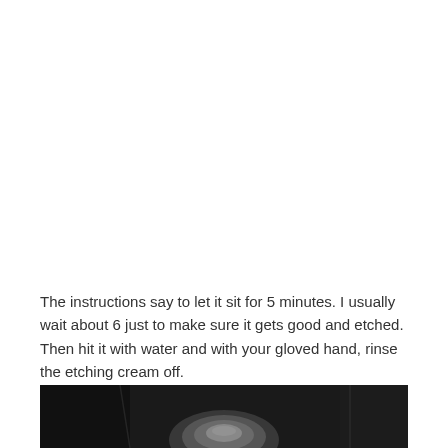The instructions say to let it sit for 5 minutes. I usually wait about 6 just to make sure it gets good and etched. Then hit it with water and with your gloved hand, rinse the etching cream off.
[Figure (photo): Dark photo showing a glass or bowl being rinsed, partially cropped at bottom of page, dark background with water visible]